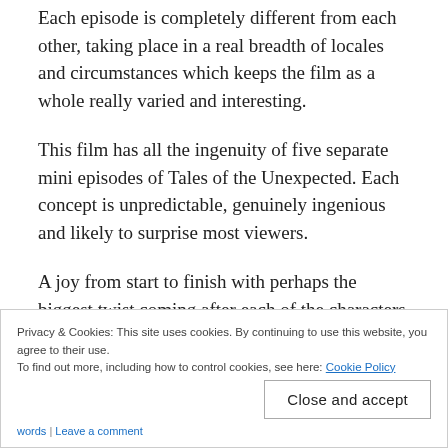Each episode is completely different from each other, taking place in a real breadth of locales and circumstances which keeps the film as a whole really varied and interesting.
This film has all the ingenuity of five separate mini episodes of Tales of the Unexpected. Each concept is unpredictable, genuinely ingenious and likely to surprise most viewers.
A joy from start to finish with perhaps the biggest twist coming after each of the characters fortunes has been told.
Privacy & Cookies: This site uses cookies. By continuing to use this website, you agree to their use.
To find out more, including how to control cookies, see here: Cookie Policy
Close and accept
words | Leave a comment